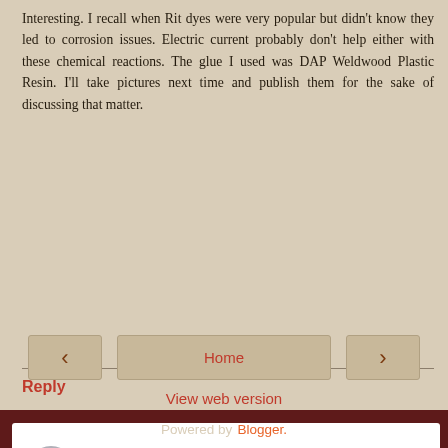Interesting. I recall when Rit dyes were very popular but didn't know they led to corrosion issues. Electric current probably don't help either with these chemical reactions. The glue I used was DAP Weldwood Plastic Resin. I'll take pictures next time and publish them for the sake of discussing that matter.
Reply
Enter Comment
Home
View web version
Powered by Blogger.